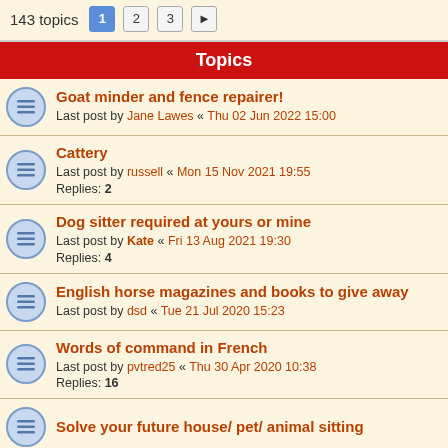143 topics  1  2  3  >
Topics
Goat minder and fence repairer! Last post by Jane Lawes « Thu 02 Jun 2022 15:00
Cattery Last post by russell « Mon 15 Nov 2021 19:55 Replies: 2
Dog sitter required at yours or mine Last post by Kate « Fri 13 Aug 2021 19:30 Replies: 4
English horse magazines and books to give away Last post by dsd « Tue 21 Jul 2020 15:23
Words of command in French Last post by pvtred25 « Thu 30 Apr 2020 10:38 Replies: 16
Solve your future house/ pet/ animal sitting